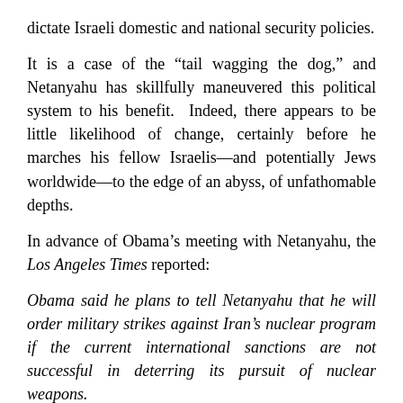dictate Israeli domestic and national security policies.
It is a case of the “tail wagging the dog,” and Netanyahu has skillfully maneuvered this political system to his benefit. Indeed, there appears to be little likelihood of change, certainly before he marches his fellow Israelis—and potentially Jews worldwide—to the edge of an abyss, of unfathomable depths.
In advance of Obama’s meeting with Netanyahu, the Los Angeles Times reported:
Obama said he plans to tell Netanyahu that he will order military strikes against Iran’s nuclear program if the current international sanctions are not successful in deterring its pursuit of nuclear weapons.